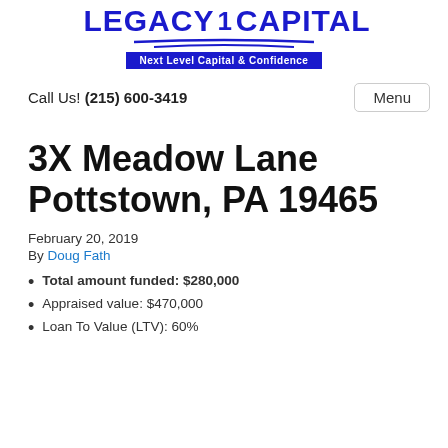[Figure (logo): Legacy 1 Capital logo with lightning bolt, swoosh underline, and blue tagline 'Next Level Capital & Confidence']
Call Us! (215) 600-3419
Menu
3X Meadow Lane Pottstown, PA 19465
February 20, 2019
By Doug Fath
Total amount funded: $280,000
Appraised value: $470,000
Loan To Value (LTV): 60%